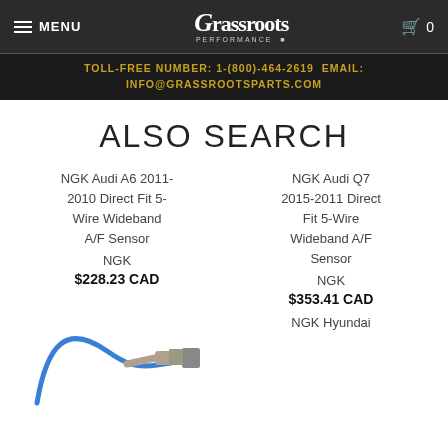MENU | Grassroots Performance | Cart 0
TOLL-FREE NUMBER: 1-(800)-464-2619 EMAIL: INFO@GRASSROOTSPARTS.COM
ALSO SEARCH
NGK Audi A6 2011-2010 Direct Fit 5-Wire Wideband A/F Sensor
NGK
$228.23 CAD
NGK Audi Q7 2015-2011 Direct Fit 5-Wire Wideband A/F Sensor
NGK
$353.41 CAD
[Figure (photo): Photo of a blue-wired oxygen/A-F sensor component]
NGK Hyundai